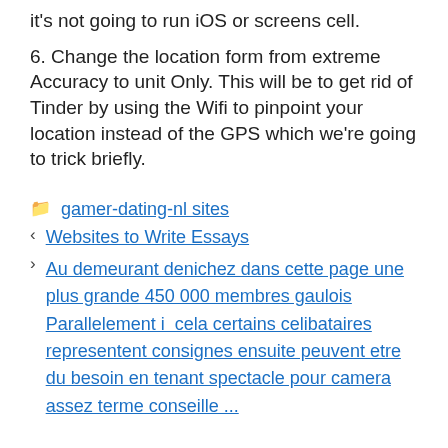it's not going to run iOS or screens cell.
6. Change the location form from extreme Accuracy to unit Only. This will be to get rid of Tinder by using the Wifi to pinpoint your location instead of the GPS which we're going to trick briefly.
gamer-dating-nl sites
Websites to Write Essays
Au demeurant denichez dans cette page une plus grande 450 000 membres gaulois Parallelement i cela certains celibataires representent consignes ensuite peuvent etre du besoin en tenant spectacle pour camera assez terme conseille ...